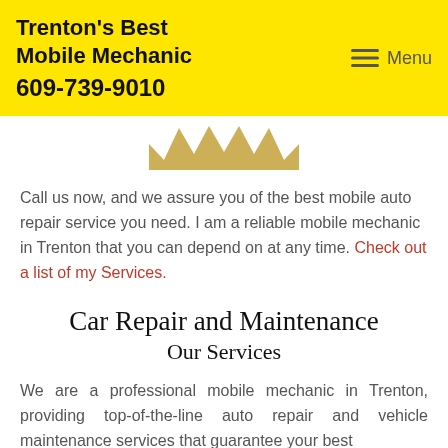Trenton's Best Mobile Mechanic
609-739-9010
Menu
[Figure (illustration): Gold/yellow star-burst or badge illustration, partially visible at top, showing zigzag crown shape]
Call us now, and we assure you of the best mobile auto repair service you need. I am a reliable mobile mechanic in Trenton that you can depend on at any time. Check out a list of my Services.
Car Repair and Maintenance
Our Services
We are a professional mobile mechanic in Trenton, providing top-of-the-line auto repair and vehicle maintenance services that guarantee your best